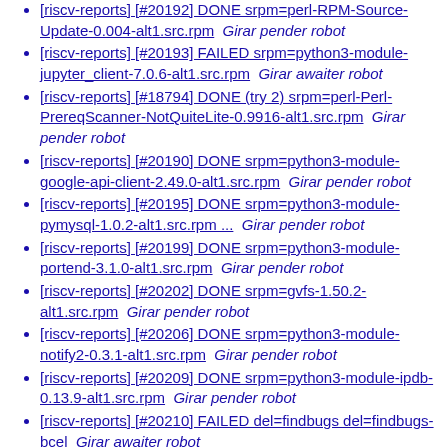[riscv-reports] [#20192] DONE srpm=perl-RPM-Source-Update-0.004-alt1.src.rpm  Girar pender robot
[riscv-reports] [#20193] FAILED srpm=python3-module-jupyter_client-7.0.6-alt1.src.rpm  Girar awaiter robot
[riscv-reports] [#18794] DONE (try 2) srpm=perl-Perl-PrereqScanner-NotQuiteLite-0.9916-alt1.src.rpm  Girar pender robot
[riscv-reports] [#20190] DONE srpm=python3-module-google-api-client-2.49.0-alt1.src.rpm  Girar pender robot
[riscv-reports] [#20195] DONE srpm=python3-module-pymysql-1.0.2-alt1.src.rpm ...  Girar pender robot
[riscv-reports] [#20199] DONE srpm=python3-module-portend-3.1.0-alt1.src.rpm  Girar pender robot
[riscv-reports] [#20202] DONE srpm=gvfs-1.50.2-alt1.src.rpm  Girar pender robot
[riscv-reports] [#20206] DONE srpm=python3-module-notify2-0.3.1-alt1.src.rpm  Girar pender robot
[riscv-reports] [#20209] DONE srpm=python3-module-ipdb-0.13.9-alt1.src.rpm  Girar pender robot
[riscv-reports] [#20210] FAILED del=findbugs del=findbugs-bcel  Girar awaiter robot
[riscv-reports] [#20227] DONE srpm=vim-8.2.5019-alt1.src.rpm  Girar pender robot
[riscv-reports] [#20230] DONE srpm=python3-module-google-api-core-2.8.1-alt1.src.rpm  Girar pender robot